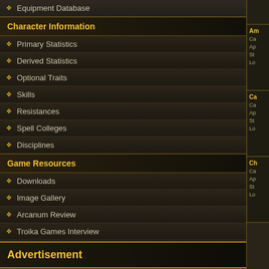Equipment Database
Character Information
Primary Statistics
Derived Statistics
Optional Traits
Skills
Resistances
Spell Colleges
Disciplines
Game Resources
Downloads
Image Gallery
Arcanum Review
Troika Games Interview
Advertisement
[Figure (illustration): Blue triangular gem amulet with metallic wings/scroll decorations - item 1]
[Figure (illustration): Blue triangular gem amulet with metallic wings/scroll decorations - item 2]
[Figure (illustration): Black circular mechanical/gear amulet with wing decorations - item 3]
Am... Ca... Ap... St... Lo...
Ca... Ca... Ap... St... Lo...
Ch... Ca... Ap... St... Lo...